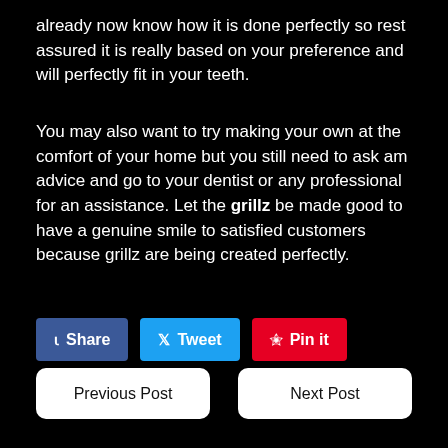already now know how it is done perfectly so rest assured it is really based on your preference and will perfectly fit in your teeth.
You may also want to try making your own at the comfort of your home but you still need to ask am advice and go to your dentist or any professional for an assistance. Let the grillz be made good to have a genuine smile to satisfied customers because grillz are being created perfectly.
[Figure (other): Social share buttons: Share (Facebook, blue), Tweet (Twitter, light blue), Pin it (Pinterest, red)]
Previous Post
Next Post